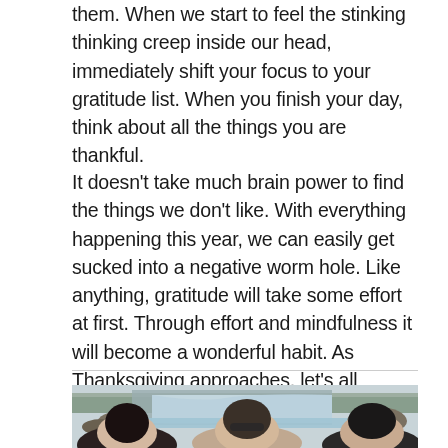them. When we start to feel the stinking thinking creep inside our head, immediately shift your focus to your gratitude list. When you finish your day, think about all the things you are thankful.
It doesn't take much brain power to find the things we don't like. With everything happening this year, we can easily get sucked into a negative worm hole. Like anything, gratitude will take some effort at first. Through effort and mindfulness it will become a wonderful habit. As Thanksgiving approaches, let's all embrace this idea of an attitude of gratitude.
[Figure (photo): A selfie photo of three people (appearing to be women) in front of a waterfall with rocky terrain and bare trees in the background. The photo is taken outdoors in what appears to be autumn or winter.]